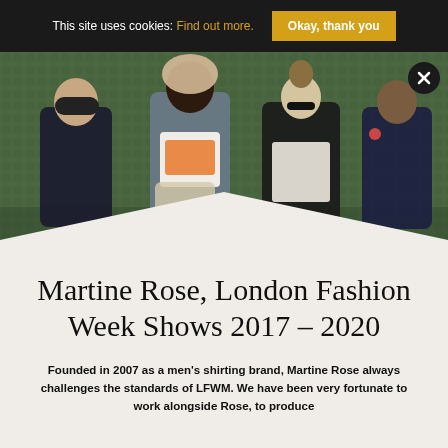This site uses cookies: Find out more. Okay, thank you
[Figure (photo): Four people standing in front of a green hedge wall: a person in dark sportswear, a tall person with curly hair in a grey jacket and white graphic tee, a person with blonde updo hair in a black jacket, and a person in a dark blazer. A circular X close button appears top-right. A white chevron/V-shape cuts into the bottom of the image.]
Martine Rose, London Fashion Week Shows 2017 – 2020
Founded in 2007 as a men's shirting brand, Martine Rose always challenges the standards of LFWM. We have been very fortunate to work alongside Rose, to produce